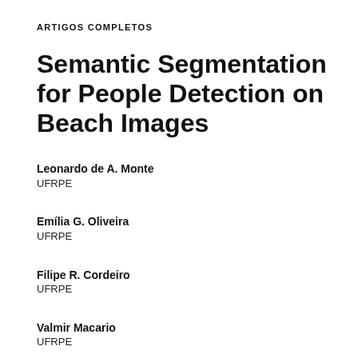ARTIGOS COMPLETOS
Semantic Segmentation for People Detection on Beach Images
Leonardo de A. Monte
UFRPE
Emília G. Oliveira
UFRPE
Filipe R. Cordeiro
UFRPE
Valmir Macario
UFRPE